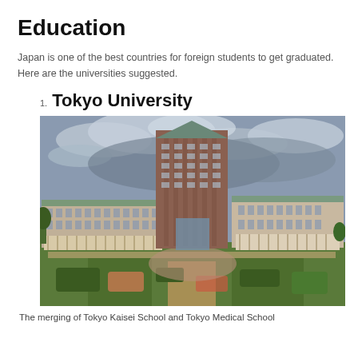Education
Japan is one of the best countries for foreign students to get graduated. Here are the universities suggested.
1. Tokyo University
[Figure (photo): Aerial view of Tokyo University campus showing a large multi-story building with reddish-brown brick facade, surrounded by formal gardens with manicured hedges and lawns, under a cloudy sky.]
The merging of Tokyo Kaisei School and Tokyo Medical School